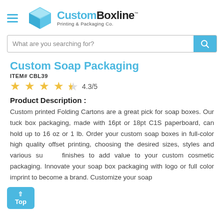[Figure (logo): CustomBoxline logo with cyan box icon and text 'Custom Boxline Printing & Packaging Co.' with hamburger menu icon]
What are you searching for?
Custom Soap Packaging
ITEM# CBL39
4.3/5
Product Description :
Custom printed Folding Cartons are a great pick for soap boxes. Our tuck box packaging, made with 16pt or 18pt C1S paperboard, can hold up to 16 oz or 1 lb. Order your custom soap boxes in full-color high quality offset printing, choosing the desired sizes, styles and various surface finishes to add value to your custom cosmetic packaging. Innovate your soap box packaging with logo or full color imprint to become a brand. Customize your soap